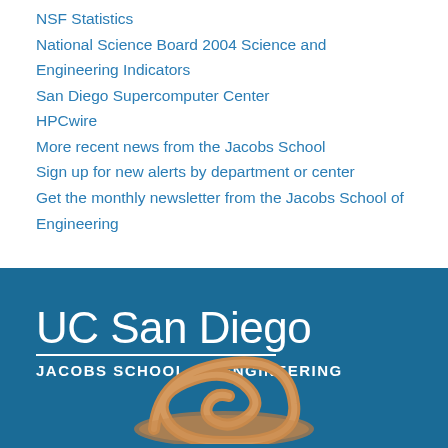NSF Statistics
National Science Board 2004 Science and Engineering Indicators
San Diego Supercomputer Center
HPCwire
More recent news from the Jacobs School
Sign up for new alerts by department or center
Get the monthly newsletter from the Jacobs School of Engineering
[Figure (logo): UC San Diego Jacobs School of Engineering logo on dark blue background with decorative shell/spiral image at bottom]